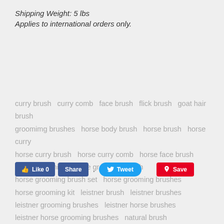Shipping Weight: 5 lbs
Applies to international orders only.
curry brush   curry comb   face brush   flick brush   goat hair brush   groomimg brushes   horse body brush   horse brush   horse curry   horse curry brush   horse curry comb   horse face brush   Horse grooming   horse grooming brush   horse grooming brush set   horse grooming brushes   horse grooming kit   leistner brush   leistner brushes   leistner grooming brushes   leistner horse brushes   leistner horse grooming brushes   natural brush   natural horse brushes   natural horse grooming   natural horse grooming brush   soft horse bursh
[Figure (screenshot): Social sharing buttons: Facebook Like 0, Share, Tweet, Pinterest Save]